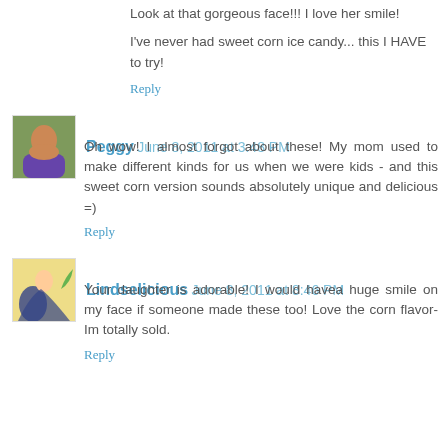Look at that gorgeous face!!! I love her smile!
I've never had sweet corn ice candy... this I HAVE to try!
Reply
Peggy  June 8, 2011 at 3:48 PM
Oh wow! I almost forgot about these! My mom used to make different kinds for us when we were kids - and this sweet corn version sounds absolutely unique and delicious =)
Reply
Lindselicious  June 8, 2011 at 8:46 PM
Your daughter is adorable! I would havea huge smile on my face if someone made these too! Love the corn flavor- Im totally sold.
Reply